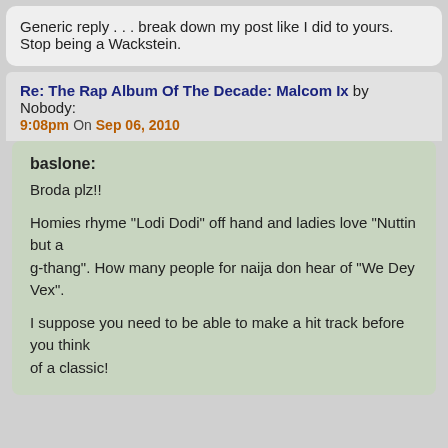Generic reply . . . break down my post like I did to yours. Stop being a Wackstein.
Re: The Rap Album Of The Decade: Malcom Ix by Nobody: 9:08pm On Sep 06, 2010
baslone:

Broda plz!!

Homies rhyme "Lodi Dodi" off hand and ladies love "Nuttin but a g-thang". How many people for naija don hear of "We Dey Vex".

I suppose you need to be able to make a hit track before you think of a classic!